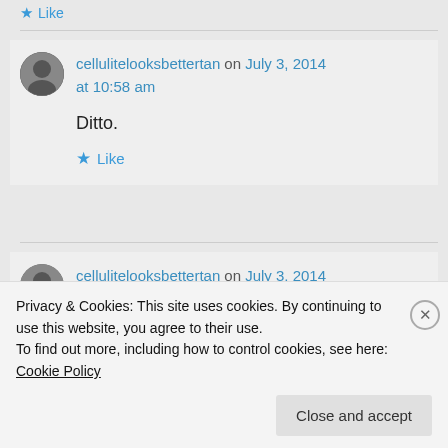Like
cellulitelooksbettertan on July 3, 2014 at 10:58 am
Ditto.
Like
cellulitelooksbettertan on July 3, 2014
Privacy & Cookies: This site uses cookies. By continuing to use this website, you agree to their use. To find out more, including how to control cookies, see here: Cookie Policy
Close and accept